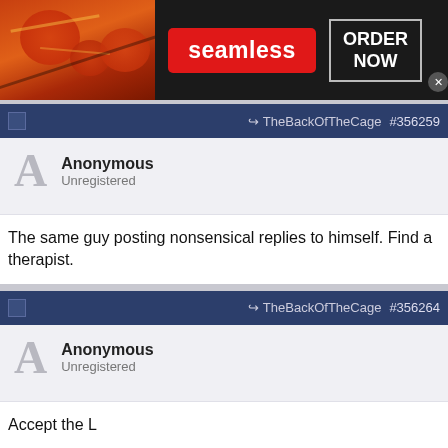[Figure (screenshot): Seamless food delivery advertisement banner with pizza image, red Seamless badge, and ORDER NOW button]
TheBackOfTheCage #356259
Anonymous
Unregistered
The same guy posting nonsensical replies to himself. Find a therapist.
TheBackOfTheCage #356264
Anonymous
Unregistered
Accept the L
[Figure (screenshot): Nike advertisement: Nike. Just Do It. Inspiring the world's athletes, Nike delivers the deals. www.nike.com]